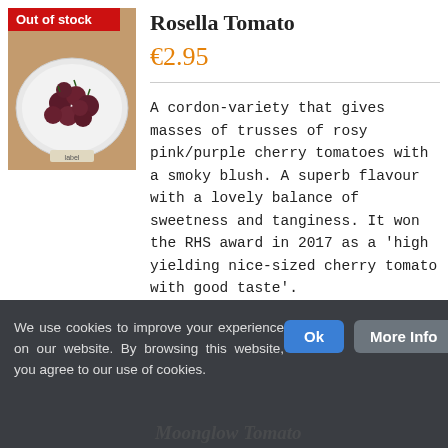[Figure (photo): Photo of rosy pink/purple cherry tomatoes on a white plate on a wooden surface, with a red 'Out of stock' badge in the top-left corner.]
Rosella Tomato
€2.95
A cordon-variety that gives masses of trusses of rosy pink/purple cherry tomatoes with a smoky blush. A superb flavour with a lovely balance of sweetness and tanginess. It won the RHS award in 2017 as a 'high yielding nice-sized cherry tomato with good taste'.
Details
We use cookies to improve your experience on our website. By browsing this website, you agree to our use of cookies.
Moonglow Tomato